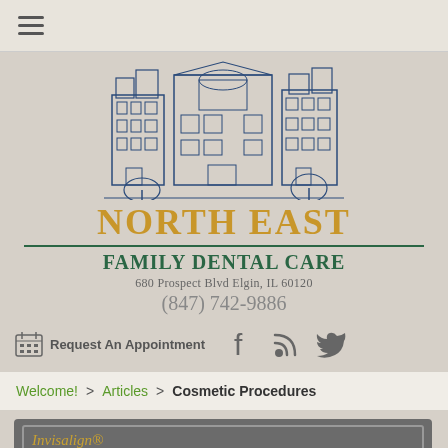≡ (hamburger menu)
[Figure (logo): North East Family Dental Care logo with blue illustrated Victorian building above text. Text reads: NORTH EAST / FAMILY DENTAL CARE / 680 Prospect Blvd Elgin, IL 60120 / (847) 742-9886]
Request An Appointment
Facebook, RSS, Twitter social icons
Welcome! > Articles > Cosmetic Procedures
Invisalign®